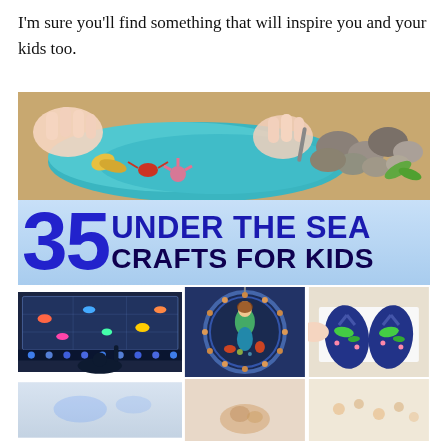I'm sure you'll find something that will inspire you and your kids too.
[Figure (photo): Child's hands playing with teal blue ocean-themed play dough with colorful sea creature figures and rocks]
35 UNDER THE SEA CRAFTS FOR KIDS
[Figure (photo): Child touching illuminated fish art display with colored lights at bottom]
[Figure (photo): Circular embroidered mermaid ornament with beaded border]
[Figure (photo): Dark blue flip flops decorated with painted fish designs on white surface]
[Figure (photo): Bottom strip of three partial images]
[Figure (photo): Partial image bottom left]
[Figure (photo): Partial image bottom center with sea creature]
[Figure (photo): Partial image bottom right]